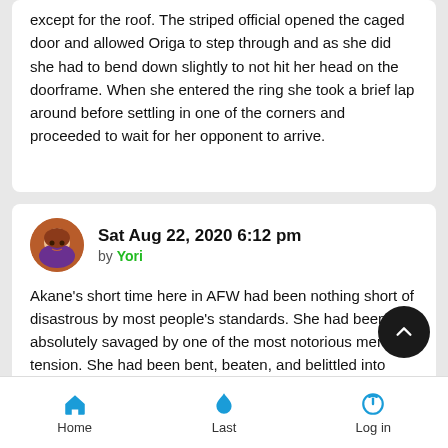except for the roof. The striped official opened the caged door and allowed Origa to step through and as she did she had to bend down slightly to not hit her head on the doorframe. When she entered the ring she took a brief lap around before settling in one of the corners and proceeded to wait for her opponent to arrive.
Sat Aug 22, 2020 6:12 pm
by Yori
Akane's short time here in AFW had been nothing short of disastrous by most people's standards. She had been absolutely savaged by one of the most notorious men in tension. She had been bent, beaten, and belittled into submission by a disgra[ced] idol who used her as little more than a body pillow. It had d[one] very little for her reputation backstage, especially after her forfeit
Home   Last   Log in